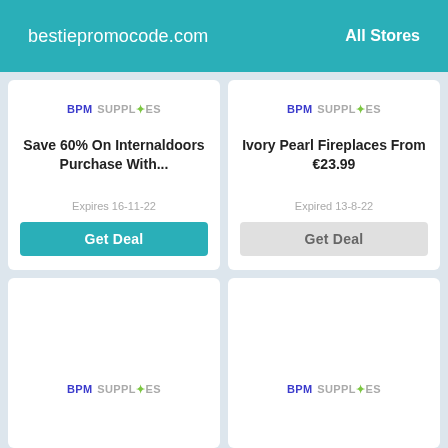bestiepromocode.com   All Stores
[Figure (logo): BPM SUPPLIES logo (top-left card)]
Save 60% On Internaldoors Purchase With...
Expires 16-11-22
Get Deal
[Figure (logo): BPM SUPPLIES logo (top-right card)]
Ivory Pearl Fireplaces From €23.99
Expired 13-8-22
Get Deal
[Figure (logo): BPM SUPPLIES logo (bottom-left card)]
[Figure (logo): BPM SUPPLIES logo (bottom-right card)]